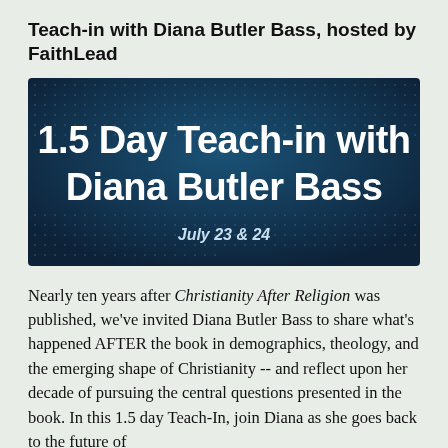Teach-in with Diana Butler Bass, hosted by FaithLead
[Figure (illustration): Dark blue banner image with dotted pattern background showing bold white text '1.5 Day Teach-in with Diana Butler Bass' and italic smaller text 'July 23 & 24' below]
Nearly ten years after Christianity After Religion was published, we've invited Diana Butler Bass to share what's happened AFTER the book in demographics, theology, and the emerging shape of Christianity -- and reflect upon her decade of pursuing the central questions presented in the book. In this 1.5 day Teach-In, join Diana as she goes back to the future of